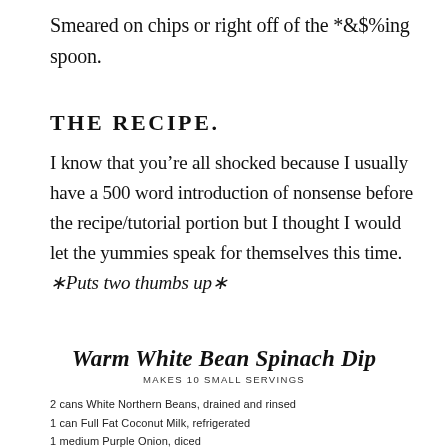Smeared on chips or right off of the *&$%ing spoon.
THE RECIPE.
I know that you’re all shocked because I usually have a 500 word introduction of nonsense before the recipe/tutorial portion but I thought I would let the yummies speak for themselves this time. ∗Puts two thumbs up∗
Warm White Bean Spinach Dip
MAKES 10 SMALL SERVINGS
2 cans White Northern Beans, drained and rinsed
1 can Full Fat Coconut Milk, refrigerated
1 medium Purple Onion, diced